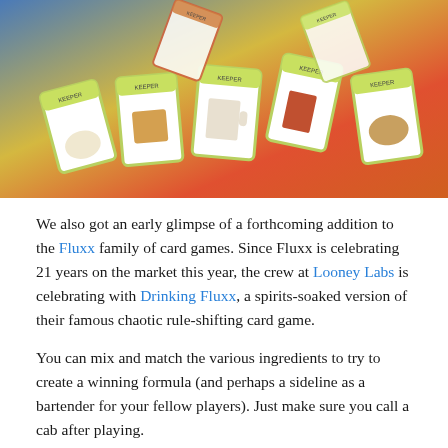[Figure (photo): Photo of Drinking Fluxx card game cards spread out on a colorful table, showing various KEEPER cards with illustrations of drinks like beer, milk, and cola]
We also got an early glimpse of a forthcoming addition to the Fluxx family of card games. Since Fluxx is celebrating 21 years on the market this year, the crew at Looney Labs is celebrating with Drinking Fluxx, a spirits-soaked version of their famous chaotic rule-shifting card game.

You can mix and match the various ingredients to try to create a winning formula (and perhaps a sideline as a bartender for your fellow players). Just make sure you call a cab after playing.
[Figure (photo): Partial photo at bottom showing a colorful game-related image, appears to show a character or figure in orange/brown tones]